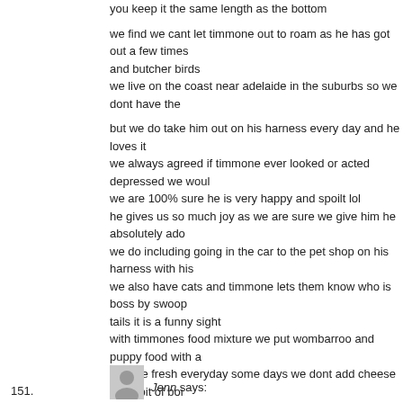you keep it the same length as the bottom

we find we cant let timmone out to roam as he has got out a few times and butcher birds
we live on the coast near adelaide in the suburbs so we dont have the

but we do take him out on his harness every day and he loves it
we always agreed if timmone ever looked or acted depressed we woul
we are 100% sure he is very happy and spoilt lol
he gives us so much joy as we are sure we give him he absolutely ado
we do including going in the car to the pet shop on his harness with his
we also have cats and timmone lets them know who is boss by swoop
tails it is a funny sight
with timmones food mixture we put wombarroo and puppy food with a
mixture fresh everyday some days we dont add cheese but a bit of boi
eats everthing we do eg a bit of vegemite on wholemeal toast with the
has his own plate with the evening meal he loves banana and pineapp
also has a container with meal worms and crickets at his disposal whe
i will say he his very humanised to the point where he only drinks out o
water he is such afunny little character we adore him
regards matt/anita
Reply
151.
Jenn says: